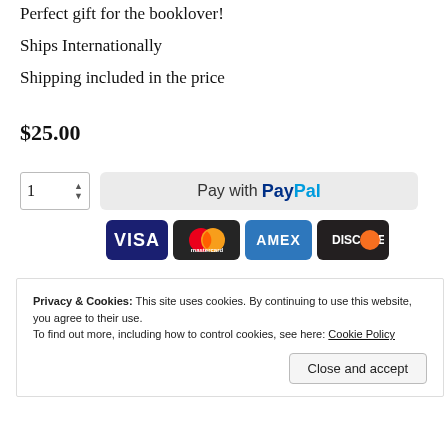Perfect gift for the booklover!
Ships Internationally
Shipping included in the price
$25.00
[Figure (screenshot): Quantity selector box showing '1' with up/down arrows, and a PayPal 'Pay with PayPal' button on the right]
[Figure (infographic): Payment method icons: VISA, Mastercard, AMEX, DISCOVER]
[Figure (photo): Partial photo strip showing a person's hands/face, partially visible]
Privacy & Cookies: This site uses cookies. By continuing to use this website, you agree to their use.
To find out more, including how to control cookies, see here: Cookie Policy
Close and accept